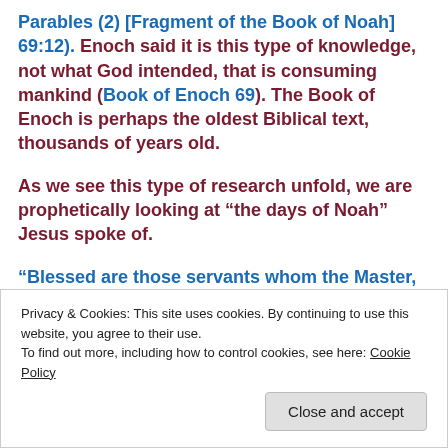Parables (2) [Fragment of the Book of Noah] 69:12). Enoch said it is this type of knowledge, not what God intended, that is consuming mankind (Book of Enoch 69). The Book of Enoch is perhaps the oldest Biblical text, thousands of years old.
As we see this type of research unfold, we are prophetically looking at “the days of Noah” Jesus spoke of.
“Blessed are those servants whom the Master, when He comes, will find watching for an lis…
Privacy & Cookies: This site uses cookies. By continuing to use this website, you agree to their use.
To find out more, including how to control cookies, see here: Cookie Policy